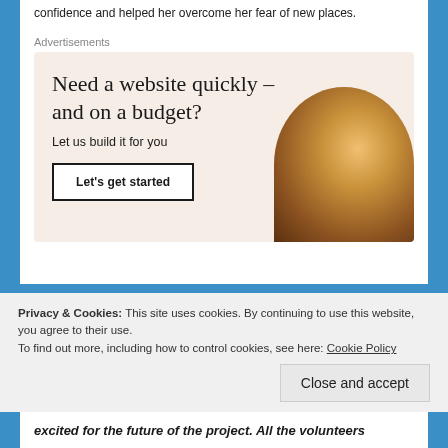confidence and helped her overcome her fear of new places.
Advertisements
[Figure (infographic): Advertisement box with beige/cream background. Headline reads 'Need a website quickly – and on a budget?' Subtext: 'Let us build it for you'. A white button labeled 'Let's get started'. A circular photo of a person's hands typing on a laptop, wearing an orange/brown sweater, with a bracelet.]
Privacy & Cookies: This site uses cookies. By continuing to use this website, you agree to their use.
To find out more, including how to control cookies, see here: Cookie Policy
Close and accept
excited for the future of the project. All the volunteers